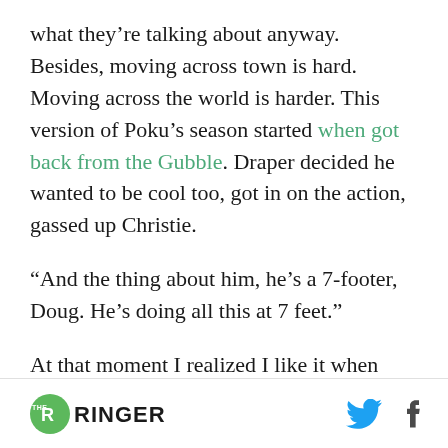what they’re talking about anyway. Besides, moving across town is hard. Moving across the world is harder. This version of Poku’s season started when got back from the Gubble. Draper decided he wanted to be cool too, got in on the action, gassed up Christie.
“And the thing about him, he’s a 7-footer, Doug. He’s doing all this at 7 feet.”
At that moment I realized I like it when announcers call each other by their first names. Christie put a bow on it
[Figure (logo): The Ringer logo: green circle with THE RINGER text in black and white]
[Figure (other): Twitter bird icon in blue and Facebook f icon in dark grey]